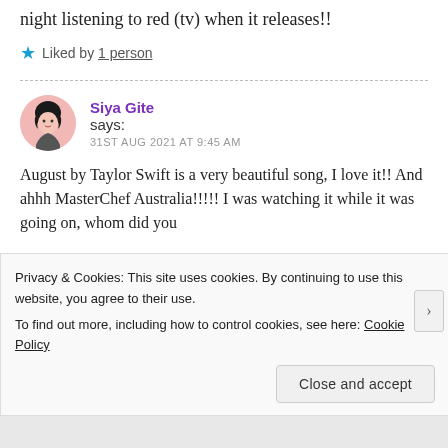I absolutely agree & I'm going to be up all night listening to red (tv) when it releases!!
★ Liked by 1 person
Siya Gite says: 31ST AUG 2021 AT 9:45 AM
August by Taylor Swift is a very beautiful song, I love it!! And ahhh MasterChef Australia!!!!! I was watching it while it was going on, whom did you
Privacy & Cookies: This site uses cookies. By continuing to use this website, you agree to their use.
To find out more, including how to control cookies, see here: Cookie Policy
Close and accept